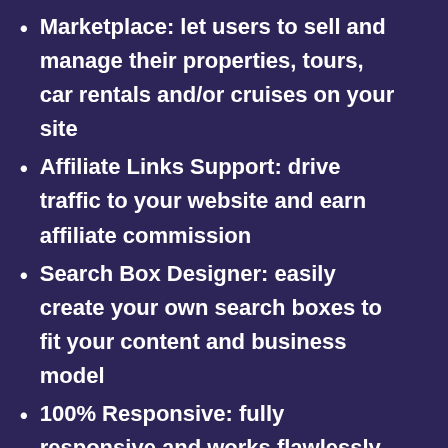Marketplace: let users to sell and manage their properties, tours, car rentals and/or cruises on your site
Affiliate Links Support: drive traffic to your website and earn affiliate commission
Search Box Designer: easily create your own search boxes to fit your content and business model
100% Responsive: fully responsive and works flawlessly on any device
Drag & Drop Page Builder: create any layout in minutes! No coding skills required